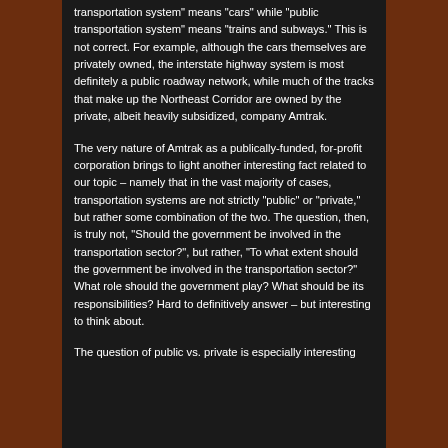transportation system" means "cars" while "public transportation system" means "trains and subways." This is not correct. For example, although the cars themselves are privately owned, the interstate highway system is most definitely a public roadway network, while much of the tracks that make up the Northeast Corridor are owned by the private, albeit heavily subsidized, company Amtrak.
The very nature of Amtrak as a publically-funded, for-profit corporation brings to light another interesting fact related to our topic – namely that in the vast majority of cases, transportation systems are not strictly "public" or "private," but rather some combination of the two. The question, then, is truly not, "Should the government be involved in the transportation sector?", but rather, "To what extent should the government be involved in the transportation sector?" What role should the government play? What should be its responsibilities? Hard to definitively answer – but interesting to think about.
The question of public vs. private is especially interesting